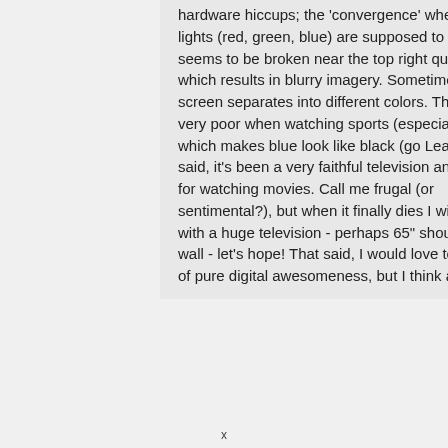hardware hiccups; the 'convergence' where the three lights (red, green, blue) are supposed to overlap seems to be broken near the top right quadrant, which results in blurry imagery. Sometimes the entire screen separates into different colors. The contrast is very poor when watching sports (especially hockey), which makes blue look like black (go Leafs!) That said, it's been a very faithful television and it's great for watching movies. Call me frugal (or sentimental?), but when it finally dies I will replace it with a huge television - perhaps 65" should fit on my wall - let's hope! That said, I would love to have 146" of pure digital awesomeness, but I think a special
x